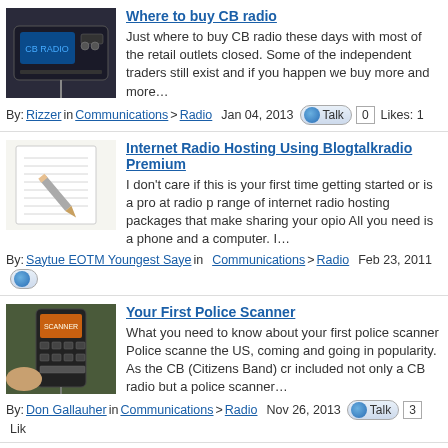Where to buy CB radio
Just where to buy CB radio these days with most of the retail outlets closed. Some of the independent traders still exist and if you happen we buy more and more…
By: Rizzer in Communications > Radio  Jan 04, 2013  Talk  0  Likes: 1
Internet Radio Hosting Using Blogtalkradio Premium
I don't care if this is your first time getting started or is a pro at radio p range of internet radio hosting packages that make sharing your opio All you need is a phone and a computer. I…
By: Saytue EOTM Youngest Saye in Communications > Radio  Feb 23, 2011
Your First Police Scanner
What you need to know about your first police scanner Police scanne the US, coming and going in popularity. As the CB (Citizens Band) cr included not only a CB radio but a police scanner…
By: Don Gallauher in Communications > Radio  Nov 26, 2013  Talk  3  Lik
Fun With the FRS Radios
Fun with FRS radio: Extending the range LEGALLY ! As an avid polic enjoying listening to the local Police and Fire Departments as they ha